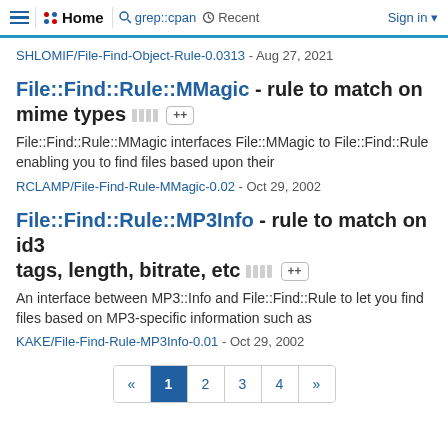≡  Home  grep::cpan  Recent  Sign in
SHLOMIF/File-Find-Object-Rule-0.0313 - Aug 27, 2021
File::Find::Rule::MMagic - rule to match on mime types ++
File::Find::Rule::MMagic interfaces File::MMagic to File::Find::Rule enabling you to find files based upon their
RCLAMP/File-Find-Rule-MMagic-0.02 - Oct 29, 2002
File::Find::Rule::MP3Info - rule to match on id3 tags, length, bitrate, etc ++
An interface between MP3::Info and File::Find::Rule to let you find files based on MP3-specific information such as
KAKE/File-Find-Rule-MP3Info-0.01 - Oct 29, 2002
« 1 2 3 4 »